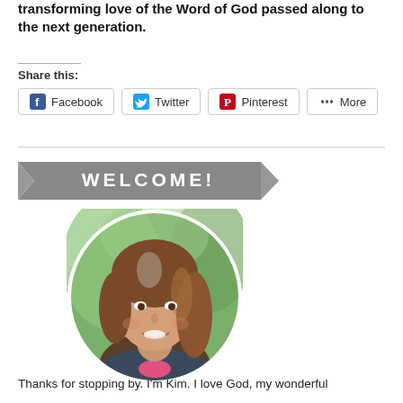transforming love of the Word of God passed along to the next generation.
Share this:
[Figure (other): Social share buttons: Facebook, Twitter, Pinterest, More]
[Figure (illustration): Welcome! banner ribbon graphic in gray with white text]
[Figure (photo): Circular portrait photo of a smiling woman (Kim) with brown hair, outdoors with green background]
Thanks for stopping by. I'm Kim. I love God, my wonderful